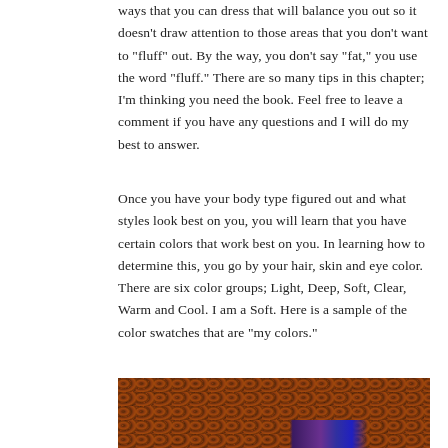ways that you can dress that will balance you out so it doesn't draw attention to those areas that you don't want to “fluff” out. By the way, you don't say “fat,” you use the word “fluff.” There are so many tips in this chapter; I’m thinking you need the book. Feel free to leave a comment if you have any questions and I will do my best to answer.
Once you have your body type figured out and what styles look best on you, you will learn that you have certain colors that work best on you. In learning how to determine this, you go by your hair, skin and eye color. There are six color groups; Light, Deep, Soft, Clear, Warm and Cool. I am a Soft. Here is a sample of the color swatches that are “my colors.”
[Figure (photo): A close-up photo showing a textured surface with an animal print pattern (leopard-like spots) in brown and dark tones, with a partial view of fabric swatches in purple/blue colors at the bottom.]